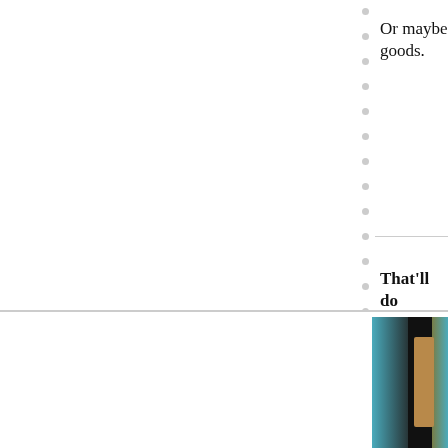Or maybe goods.
That'll do
[Figure (other): Calendar grid showing dates 1–26+ arranged in rows of 7, with weekdays and weekends in muted gray tones. Some dates appear slightly darker (active). Rows visible: 1-6, 7-13, 14-20, 21-26+.]
[Figure (photo): Partial photo of a person against a turquoise/teal background, mostly cropped, showing a dark vertical strip and tan/brown clothing.]